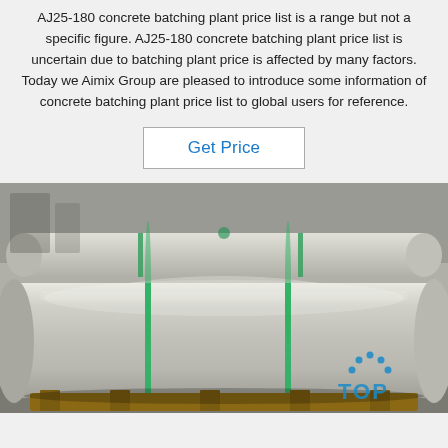AJ25-180 concrete batching plant price list is a range but not a specific figure. AJ25-180 concrete batching plant price list is uncertain due to batching plant price is affected by many factors. Today we Aimix Group are pleased to introduce some information of concrete batching plant price list to global users for reference.
Get Price
[Figure (photo): Large metallic cylindrical rolls (steel or similar material) wrapped with green straps, resting on wooden pallets in an industrial warehouse setting. A blue 'TOP' logo watermark is visible in the bottom right corner.]